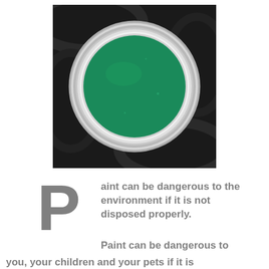[Figure (photo): Overhead view of an open paint can filled with green paint, set against a dark black background with swirling patterns.]
Paint can be dangerous to the environment if it is not disposed properly.
Paint can be dangerous to you, your children and your pets if it is